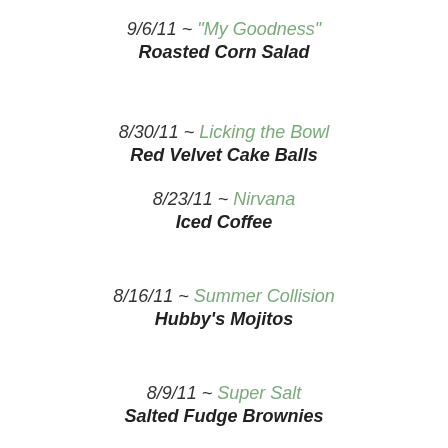9/6/11 ~ "My Goodness" / Roasted Corn Salad
8/30/11 ~ Licking the Bowl / Red Velvet Cake Balls
8/23/11 ~ Nirvana / Iced Coffee
8/16/11 ~ Summer Collision / Hubby's Mojitos
8/9/11 ~ Super Salt / Salted Fudge Brownies